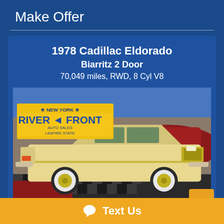Make Offer
1978 Cadillac Eldorado
Biarritz 2 Door
70,049 miles, RWD, 8 Cyl V8
[Figure (photo): 1978 Cadillac Eldorado Biarritz 2 Door in yellow/cream color parked in a dealership showroom with a River Front Auto Sales New York license plate holder, red checkered floor, other classic cars in background]
Text Us